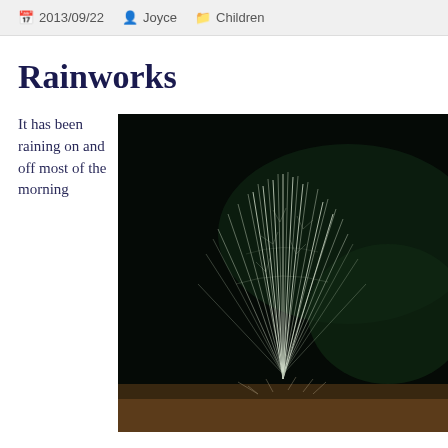2013/09/22  Joyce  Children
Rainworks
It has been raining on and off most of the morning
[Figure (photo): Close-up macro photograph of delicate grass seed heads or spider web with fine filaments radiating outward, shot against a dark background with dark green foliage visible.]